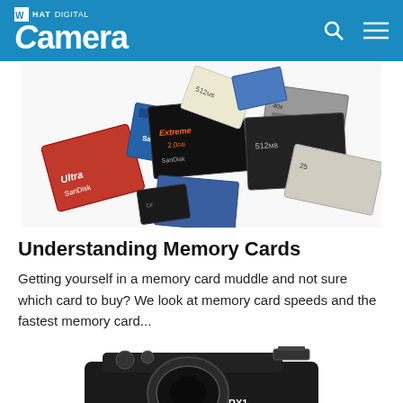What Digital Camera
[Figure (photo): A pile of various memory cards including SD, CompactFlash, xD and other card types scattered together on a white background]
Understanding Memory Cards
Getting yourself in a memory card muddle and not sure which card to buy? We look at memory card speeds and the fastest memory card...
[Figure (photo): Sony RX1 camera, a black compact digital camera with 'RX1' label and 'SONY' branding, partially visible at bottom of page]